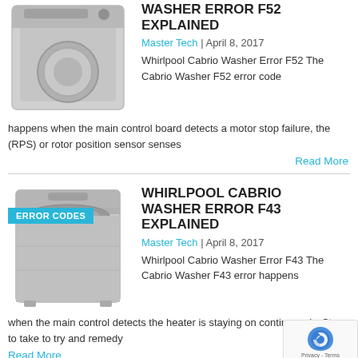[Figure (photo): Whirlpool Cabrio top-load washing machine, silver/stainless finish, top view]
WASHER ERROR F52 EXPLAINED
Master Tech  |  April 8, 2017
Whirlpool Cabrio Washer Error F52 The Cabrio Washer F52 error code happens when the main control board detects a motor stop failure, the (RPS) or rotor position sensor senses
Read More
[Figure (photo): Whirlpool Cabrio top-load washing machine with ERROR CODES badge overlay]
WHIRLPOOL CABRIO WASHER ERROR F43 EXPLAINED
Master Tech  |  April 8, 2017
Whirlpool Cabrio Washer Error F43 The Cabrio Washer F43 error happens when the main control detects the heater is staying on continuously. Steps to take to try and remedy
Read More